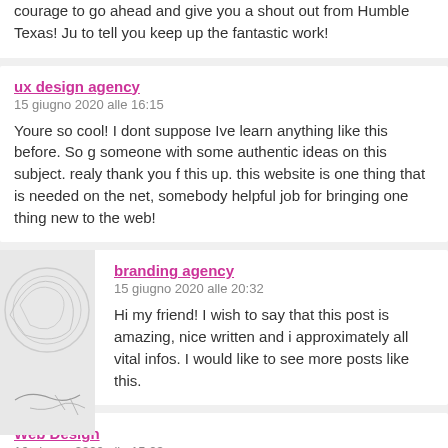courage to go ahead and give you a shout out from Humble Texas! Ju to tell you keep up the fantastic work!
ux design agency
15 giugno 2020 alle 16:15
Youre so cool! I dont suppose Ive learn anything like this before. So g someone with some authentic ideas on this subject. realy thank you f this up. this website is one thing that is needed on the net, somebody helpful job for bringing one thing new to the web!
branding agency
15 giugno 2020 alle 20:32
Hi my friend! I wish to say that this post is amazing, nice written and i approximately all vital infos. I would like to see more posts like this.
Web Design
16 giugno 2020 alle 15:23
The very heart of your writing while appearing agreeable at first, did...